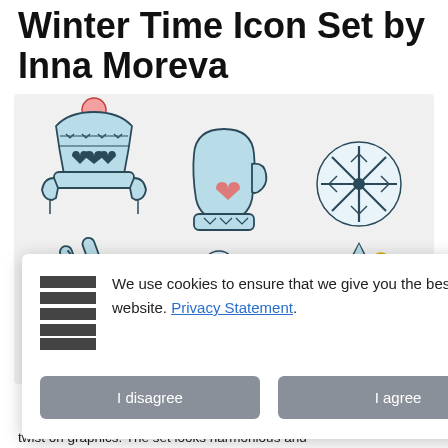Winter Time Icon Set by Inna Moreva
[Figure (illustration): Grid of winter-themed icons: winter hat with pompom, mitten with heart, snowflake, crossed skis, snowy cloud, mountain scene with sun and clouds, and partially visible icons below. Icons are outlined in dark teal/gray with light blue fill accents.]
[Figure (other): Cookie consent banner overlay with hamburger/list icon on left, text reading 'We use cookies to ensure that we give you the best experience on our website. Privacy Statement.' with an X close button, and two buttons: 'I disagree' and 'I agree']
atures a a tasty twist on graphics. The set looks harmonious and